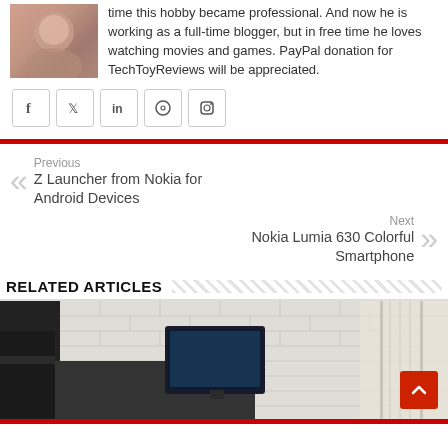time this hobby became professional. And now he is working as a full-time blogger, but in free time he loves watching movies and games. PayPal donation for TechToyReviews will be appreciated.
[Figure (illustration): Row of social media icons: Facebook, Twitter, LinkedIn, Pinterest, Instagram]
Previous
Z Launcher from Nokia for Android Devices
Next
Nokia Lumia 630 Colorful Smartphone
RELATED ARTICLES
[Figure (photo): Office interior with brick wall, monitor on desk, chairs, window with sunlight]